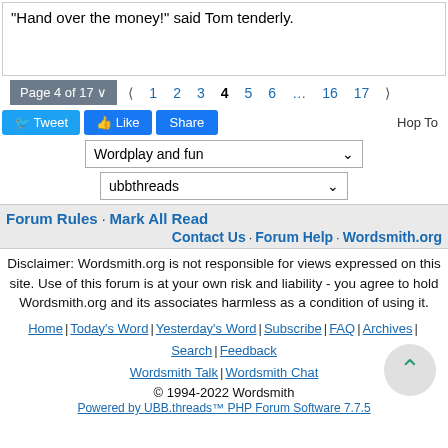"Hand over the money!" said Tom tenderly.
Page 4 of 17  ❮ 1 2 3 4 5 6 … 16 17 ❯
Tweet  Like  Share  Hop To
Wordplay and fun
ubbthreads
Forum Rules · Mark All Read
Contact Us · Forum Help · Wordsmith.org
Disclaimer: Wordsmith.org is not responsible for views expressed on this site. Use of this forum is at your own risk and liability - you agree to hold Wordsmith.org and its associates harmless as a condition of using it.
Home | Today's Word | Yesterday's Word | Subscribe | FAQ | Archives | Search | Feedback
Wordsmith Talk | Wordsmith Chat
© 1994-2022 Wordsmith
Powered by UBB.threads™ PHP Forum Software 7.7.5